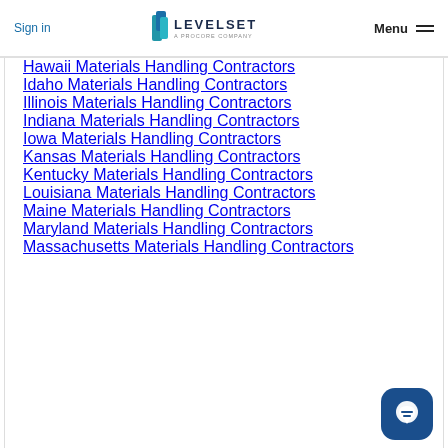Sign in | LEVELSET A PROCORE COMPANY | Menu
Hawaii Materials Handling Contractors
Idaho Materials Handling Contractors
Illinois Materials Handling Contractors
Indiana Materials Handling Contractors
Iowa Materials Handling Contractors
Kansas Materials Handling Contractors
Kentucky Materials Handling Contractors
Louisiana Materials Handling Contractors
Maine Materials Handling Contractors
Maryland Materials Handling Contractors
Massachusetts Materials Handling Contractors